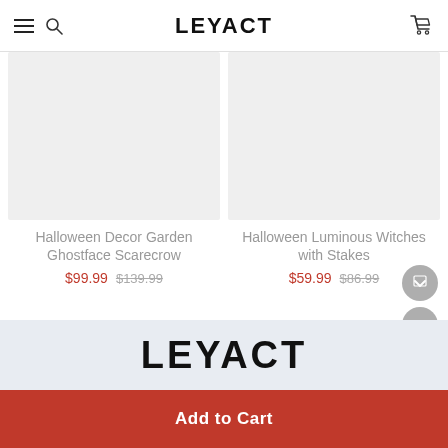LEYACT
[Figure (photo): Product image placeholder for Halloween Decor Garden Ghostface Scarecrow (light gray box)]
Halloween Decor Garden Ghostface Scarecrow
$99.99  $139.99
[Figure (photo): Product image placeholder for Halloween Luminous Witches with Stakes (light gray box)]
Halloween Luminous Witches with Stakes
$59.99  $86.99
[Figure (logo): LEYACT logo in footer brand area on light blue background]
Add to Cart